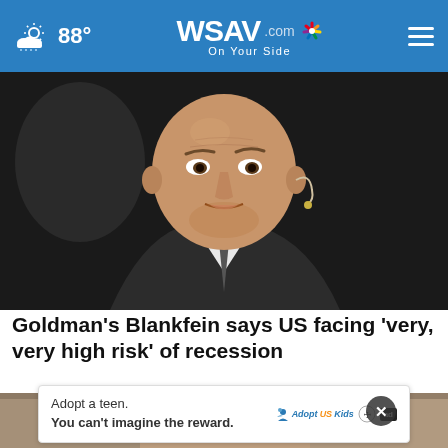88° WSAV.com On Your Side
[Figure (photo): Close-up photo of Goldman Sachs executive Lloyd Blankfein speaking with a headset microphone, wearing a dark suit and tie, against a dark background.]
Goldman's Blankfein says US facing 'very, very high risk' of recession
[Figure (photo): Partial photo of a person, partially obscured by an advertisement overlay.]
Adopt a teen. You can't imagine the reward.